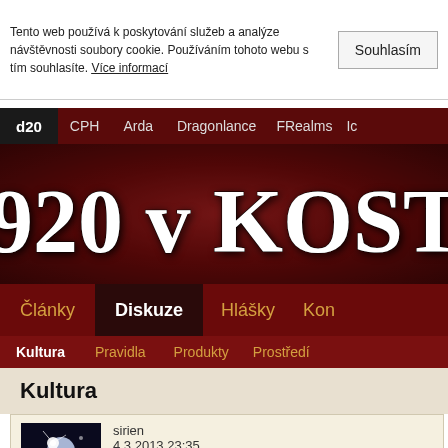Tento web používá k poskytování služeb a analýze návštěvnosti soubory cookie. Používáním tohoto webu s tím souhlasíte. Více informací
d20  CPH  Arda  Dragonlance  FRealms  Ic
[Figure (screenshot): Website header banner with large white text 'd20 v KOSTCE' on dark red background]
Články  Diskuze  Hlášky  Kon
Kultura  Pravidla  Produkty  Prostředí
Kultura
sirien
4.3.2013 23:35
K: Fate 3e Core preview (+překlady)
protože jsem to tu začal sprostě zneužívat jako diskusi k Core, tak TADY je do záhlaví odkaz na kopii překladového k komentáře, ale kdyžtak ocenim spíš příspěvky do diskuse at